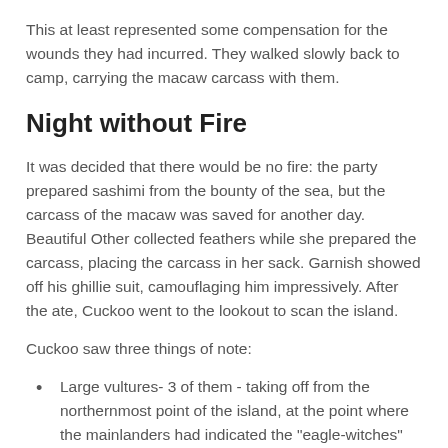This at least represented some compensation for the wounds they had incurred. They walked slowly back to camp, carrying the macaw carcass with them.
Night without Fire
It was decided that there would be no fire: the party prepared sashimi from the bounty of the sea, but the carcass of the macaw was saved for another day. Beautiful Other collected feathers while she prepared the carcass, placing the carcass in her sack. Garnish showed off his ghillie suit, camouflaging him impressively. After the ate, Cuckoo went to the lookout to scan the island.
Cuckoo saw three things of note:
Large vultures- 3 of them - taking off from the northernmost point of the island, at the point where the mainlanders had indicated the "eagle-witches" lived.
The large bay was DEFINITELY inhabited: a